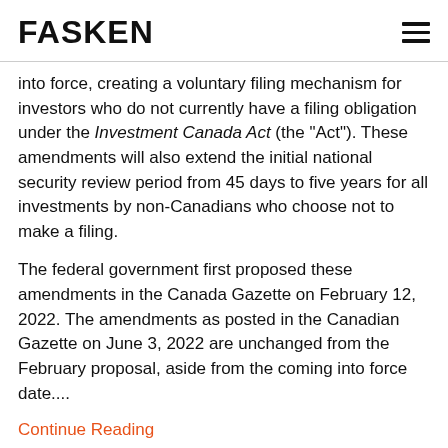FASKEN
into force, creating a voluntary filing mechanism for investors who do not currently have a filing obligation under the Investment Canada Act (the “Act”). These amendments will also extend the initial national security review period from 45 days to five years for all investments by non-Canadians who choose not to make a filing.
The federal government first proposed these amendments in the Canada Gazette on February 12, 2022. The amendments as posted in the Canadian Gazette on June 3, 2022 are unchanged from the February proposal, aside from the coming into force date....
Continue Reading